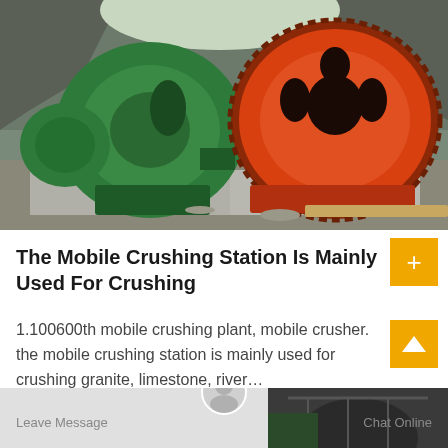[Figure (photo): Outdoor photograph of two large industrial grinding/crushing mill machines — one painted green on the left and one painted orange/red on the right — mounted on concrete pads at a rock quarry site with rocky terrain and trees in the background.]
The Mobile Crushing Station Is Mainly Used For Crushing
1.100600th mobile crushing plant, mobile crusher. the mobile crushing station is mainly used for crushing granite, limestone, river…
[Figure (photo): Partial photograph at the bottom of the page showing mobile crushing equipment/machinery outdoors, partially obscured by a footer overlay with 'Leave Message', a circular avatar icon, and 'Chat Online' text.]